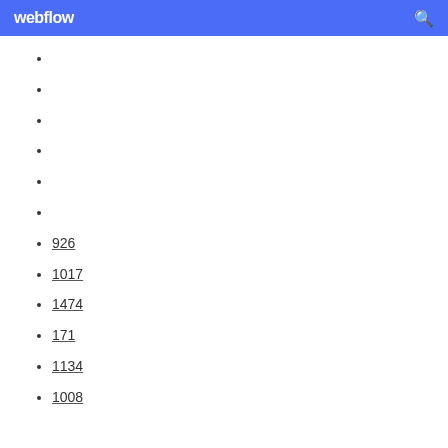webflow
926
1017
1474
171
1134
1008